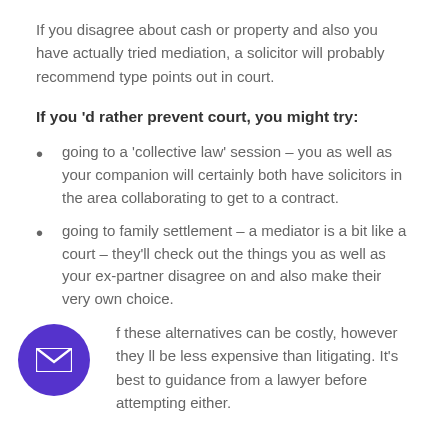If you disagree about cash or property and also you have actually tried mediation, a solicitor will probably recommend type points out in court.
If you 'd rather prevent court, you might try:
going to a 'collective law' session – you as well as your companion will certainly both have solicitors in the area collaborating to get to a contract.
going to family settlement – a mediator is a bit like a court – they'll check out the things you as well as your ex-partner disagree on and also make their very own choice.
f these alternatives can be costly, however they ll be less expensive than litigating. It's best to guidance from a lawyer before attempting either.